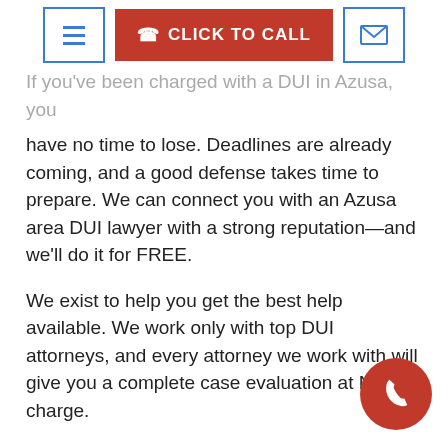[Figure (infographic): Navigation header bar with a hamburger menu button (blue border), a red 'CLICK TO CALL' button with phone icon, and an email envelope button (blue border)]
If you've been charged with a DUI in Azusa, you have no time to lose. Deadlines are already coming, and a good defense takes time to prepare. We can connect you with an Azusa area DUI lawyer with a strong reputation—and we'll do it for FREE.
We exist to help you get the best help available. We work only with top DUI attorneys, and every attorney we work with will give you a complete case evaluation at NO charge.
Don't miss your opportunity to turn your case around. Fill out the form to the right or call (310)